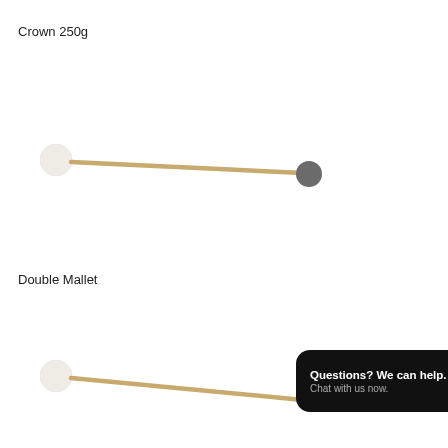Crown 250g
[Figure (photo): A drum mallet with a white felt head on the left and a dark grey felt head on the right, connected by a wooden stick, angled diagonally.]
Double Mallet
[Figure (photo): A double-headed mallet with a white felt head on the left side, wooden handle extending diagonally, partially obscured by a chat widget.]
Questions? We can help. Chat with us now.